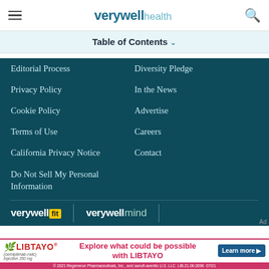verywell health
Table of Contents
Editorial Process
Diversity Pledge
Privacy Policy
In the News
Cookie Policy
Advertise
Terms of Use
Careers
California Privacy Notice
Contact
Do Not Sell My Personal Information
[Figure (logo): verywell fit logo]
[Figure (logo): verywell mind logo]
[Figure (logo): verywell family logo (partially visible)]
[Figure (advertisement): LIBTAYO (cemiplimab-rwlc) ad - Explore what could be possible with LIBTAYO. Learn more. 2021 Regeneron Pharmaceuticals, Inc., and sanofi-aventis U.S. LLC. LIB.21.06.0096 07/21]